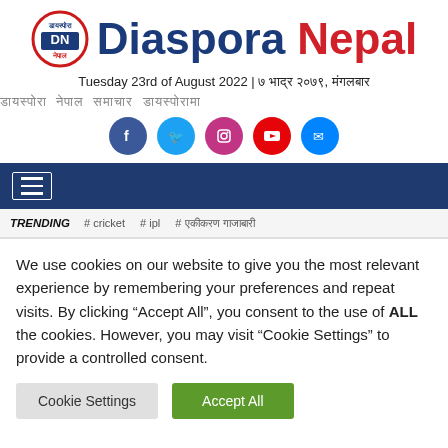[Figure (logo): Diaspora Nepal logo with circular emblem on left and brand name text on right. 'Diaspora' in dark navy blue, 'Nepal' in red.]
Tuesday 23rd of August 2022 | ७ भाद्र २०७९, मंगलबार
डायस्पोरा नेपाल समाचार डायस्पोरामा (Nepali text in gray)
[Figure (infographic): Row of 5 social media icon buttons: Facebook (blue), Twitter (light blue), Instagram (purple/pink), YouTube (red), Messenger (blue)]
[Figure (screenshot): Navigation bar - dark navy blue bar with hamburger menu icon (three horizontal lines) in white]
TRENDING  # cricket  # ipl  # एकीकरण गाजाबारी
We use cookies on our website to give you the most relevant experience by remembering your preferences and repeat visits. By clicking "Accept All", you consent to the use of ALL the cookies. However, you may visit "Cookie Settings" to provide a controlled consent.
Cookie Settings   Accept All